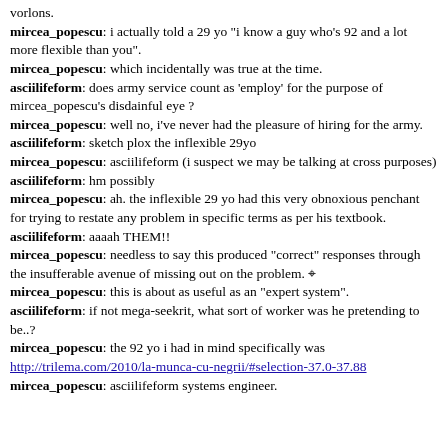vorlons.
mircea_popescu: i actually told a 29 yo "i know a guy who's 92 and a lot more flexible than you".
mircea_popescu: which incidentally was true at the time.
asciilifeform: does army service count as 'employ' for the purpose of mircea_popescu's disdainful eye ?
mircea_popescu: well no, i've never had the pleasure of hiring for the army.
asciilifeform: sketch plox the inflexible 29yo
mircea_popescu: asciilifeform (i suspect we may be talking at cross purposes)
asciilifeform: hm possibly
mircea_popescu: ah. the inflexible 29 yo had this very obnoxious penchant for trying to restate any problem in specific terms as per his textbook.
asciilifeform: aaaah THEM!!
mircea_popescu: needless to say this produced "correct" responses through the insufferable avenue of missing out on the problem.
mircea_popescu: this is about as useful as an "expert system".
asciilifeform: if not mega-seekrit, what sort of worker was he pretending to be..?
mircea_popescu: the 92 yo i had in mind specifically was http://trilema.com/2010/la-munca-cu-negrii/#selection-37.0-37.88
mircea_popescu: asciilifeform systems engineer.